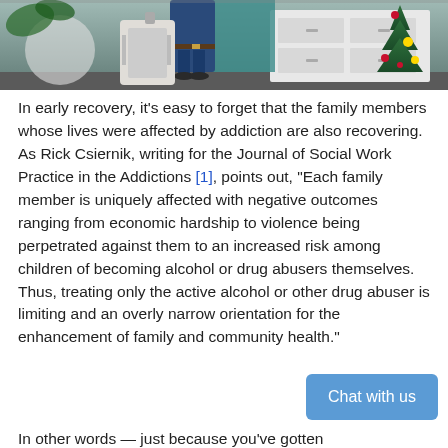[Figure (photo): A person with luggage near a Christmas tree and white dresser, partially cropped at the top of the page.]
In early recovery, it's easy to forget that the family members whose lives were affected by addiction are also recovering. As Rick Csiernik, writing for the Journal of Social Work Practice in the Addictions [1], points out, "Each family member is uniquely affected with negative outcomes ranging from economic hardship to violence being perpetrated against them to an increased risk among children of becoming alcohol or drug abusers themselves. Thus, treating only the active alcohol or other drug abuser is limiting and an overly narrow orientation for the enhancement of family and community health."
In other words — just because you've gotten